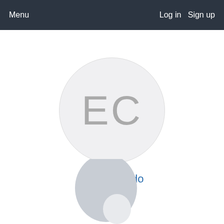Menu   Log in   Sign up
[Figure (illustration): Circular avatar placeholder with initials EC in grey on a light grey background]
Elvis Collado
[Figure (illustration): Partial view of a second user avatar silhouette in grey, cropped at bottom of page]